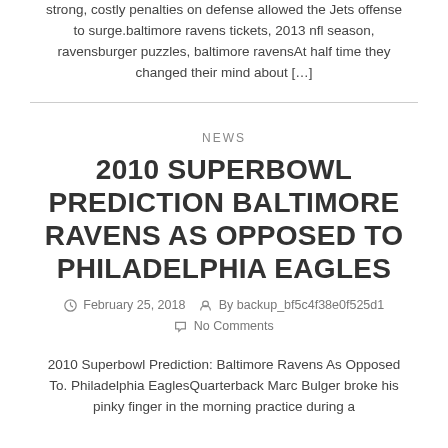strong, costly penalties on defense allowed the Jets offense to surge.baltimore ravens tickets, 2013 nfl season, ravensburger puzzles, baltimore ravensAt half time they changed their mind about […]
NEWS
2010 SUPERBOWL PREDICTION BALTIMORE RAVENS AS OPPOSED TO PHILADELPHIA EAGLES
February 25, 2018   By backup_bf5c4f38e0f525d1   No Comments
2010 Superbowl Prediction: Baltimore Ravens As Opposed To. Philadelphia EaglesQuarterback Marc Bulger broke his pinky finger in the morning practice during a